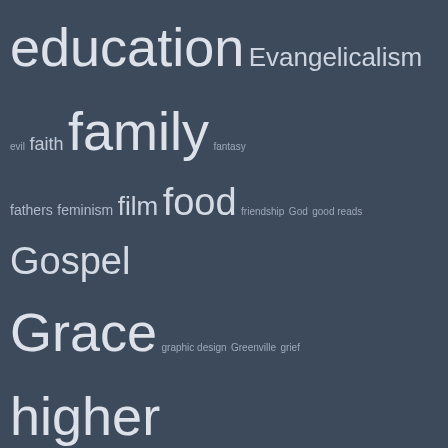[Figure (other): Tag cloud with various topics at different font sizes indicating frequency/importance. Topics include education, Evangelicalism, evil, faith, family, fantasy, fathers, feminism, film, food, friendship, God, good reads, Gospel, Grace, graphic design, Greenville, grief, higher education, history, Hugo Awards, Instagram, justice, leadership, legalism, life, literature, Love, marriage, ministry, modesty, movies, music, MusicMonday, NCS, parenting, personal, politics, poverty, public education, racism, recipe, relational teaching, relationships, reviews, sci-fi, science, science fiction, sex, Shakespeare, sin, social justice, social media, South Carolina, Story, teaching, theater, theology, travel, video]